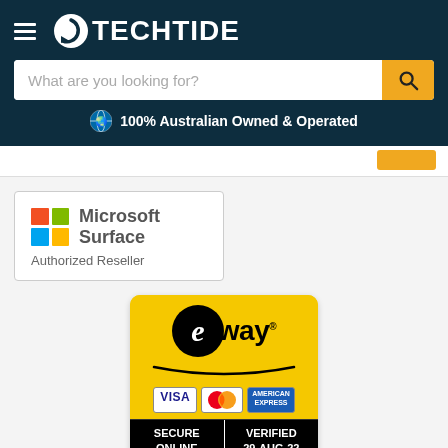[Figure (logo): TechTide website header with hamburger menu, logo (circular arrow icon + TECHTIDE text in white on dark navy background), search bar with orange search button, and Australian flag with '100% Australian Owned & Operated' text]
[Figure (logo): Microsoft Surface Authorized Reseller badge with Microsoft four-color squares logo]
[Figure (logo): eWay secure payment badge showing VISA, MasterCard, American Express logos and SECURE ONLINE VERIFIED 29-AUG-22]